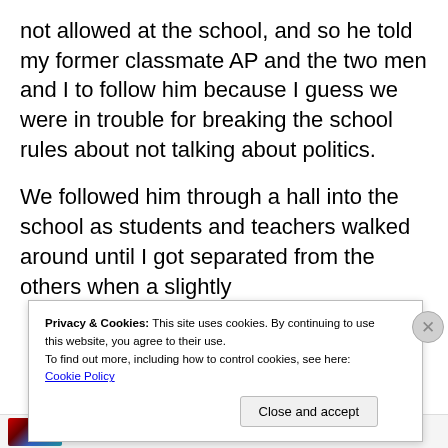not allowed at the school, and so he told my former classmate AP and the two men and I to follow him because I guess we were in trouble for breaking the school rules about not talking about politics.
We followed him through a hall into the school as students and teachers walked around until I got separated from the others when a slightly
Privacy & Cookies: This site uses cookies. By continuing to use this website, you agree to their use.
To find out more, including how to control cookies, see here: Cookie Policy